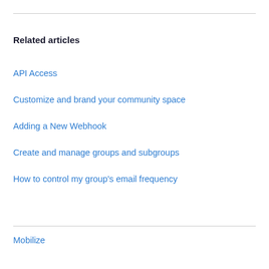Related articles
API Access
Customize and brand your community space
Adding a New Webhook
Create and manage groups and subgroups
How to control my group's email frequency
Mobilize